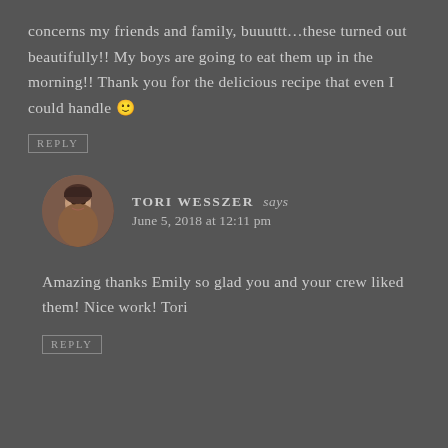concerns my friends and family, buuuttt…these turned out beautifully!! My boys are going to eat them up in the morning!! Thank you for the delicious recipe that even I could handle 🙂
REPLY
TORI WESSZER says
June 5, 2018 at 12:11 pm
Amazing thanks Emily so glad you and your crew liked them! Nice work! Tori
REPLY